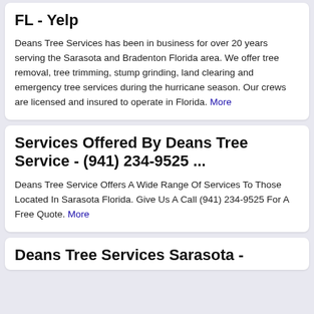FL - Yelp
Deans Tree Services has been in business for over 20 years serving the Sarasota and Bradenton Florida area. We offer tree removal, tree trimming, stump grinding, land clearing and emergency tree services during the hurricane season. Our crews are licensed and insured to operate in Florida. More
Services Offered By Deans Tree Service - (941) 234-9525 ...
Deans Tree Service Offers A Wide Range Of Services To Those Located In Sarasota Florida. Give Us A Call (941) 234-9525 For A Free Quote. More
Deans Tree Services Sarasota -